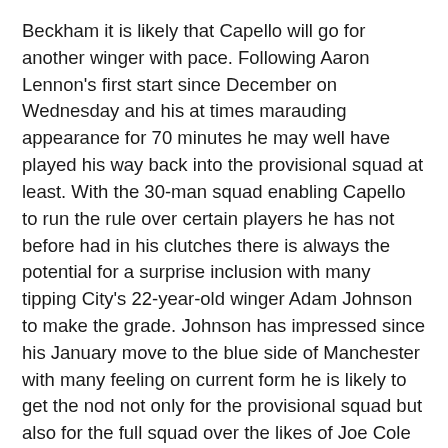Beckham it is likely that Capello will go for another winger with pace. Following Aaron Lennon's first start since December on Wednesday and his at times marauding appearance for 70 minutes he may well have played his way back into the provisional squad at least. With the 30-man squad enabling Capello to run the rule over certain players he has not before had in his clutches there is always the potential for a surprise inclusion with many tipping City's 22-year-old winger Adam Johnson to make the grade. Johnson has impressed since his January move to the blue side of Manchester with many feeling on current form he is likely to get the nod not only for the provisional squad but also for the full squad over the likes of Joe Cole and City teammate Shaun Wright-Phillips. In the opinion of this writer Johnson shows not only the ability but also the confidence to make the step up and have an influence at this level.
If there is still much uncertainty surrounding the make-up of the full squad one thing which has been confirmed this week is